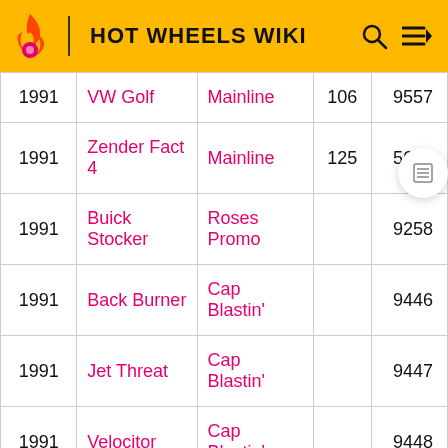HOT WHEELS WIKI
| Year | Name | Series | Num | ID |
| --- | --- | --- | --- | --- |
| 1991 | VW Golf | Mainline | 106 | 9557 |
| 1991 | Zender Fact 4 | Mainline | 125 | 5674 |
| 1991 | Buick Stocker | Roses Promo |  | 9258 |
| 1991 | Back Burner | Cap Blastin' |  | 9446 |
| 1991 | Jet Threat | Cap Blastin' |  | 9447 |
| 1991 | Velocitor | Cap Blastin' |  | 9448 |
| 1991 | Pio... | ... |  | 94... |